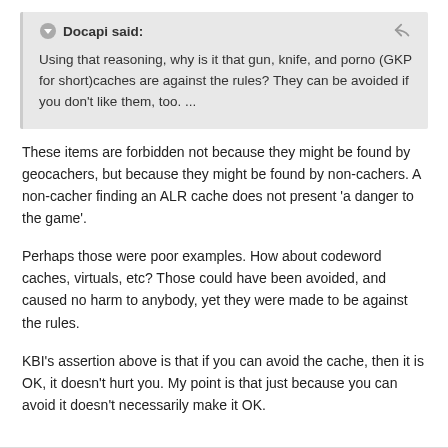Docapi said:
Using that reasoning, why is it that gun, knife, and porno (GKP for short)caches are against the rules? They can be avoided if you don't like them, too. ...
These items are forbidden not because they might be found by geocachers, but because they might be found by non-cachers. A non-cacher finding an ALR cache does not present 'a danger to the game'.
Perhaps those were poor examples. How about codeword caches, virtuals, etc? Those could have been avoided, and caused no harm to anybody, yet they were made to be against the rules.
KBI's assertion above is that if you can avoid the cache, then it is OK, it doesn't hurt you. My point is that just because you can avoid it doesn't necessarily make it OK.